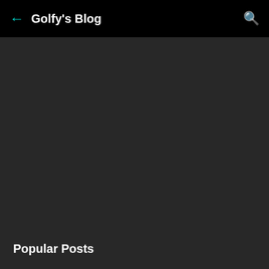← Golfy's Blog 🔍
Popular Posts